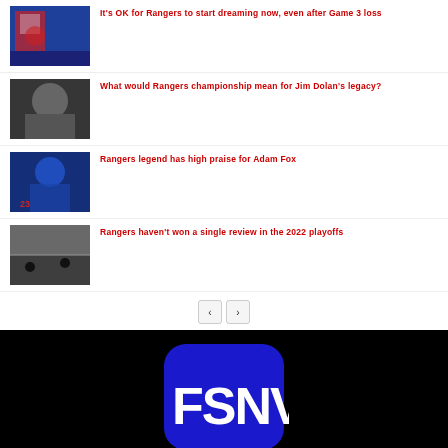It's OK for Rangers to start dreaming now, even after Game 3 loss
What would Rangers championship mean for Jim Dolan's legacy?
Rangers legend has high praise for Adam Fox
Rangers haven't won a single review in the 2022 playoffs
[Figure (logo): FSNV logo on black background]